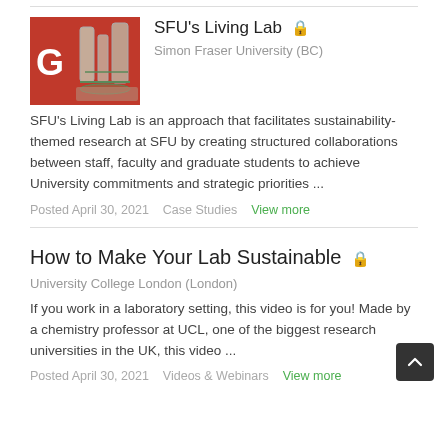[Figure (photo): Thumbnail photo of laboratory glassware/equipment on a red background]
SFU's Living Lab 🔒
Simon Fraser University (BC)
SFU's Living Lab is an approach that facilitates sustainability-themed research at SFU by creating structured collaborations between staff, faculty and graduate students to achieve University commitments and strategic priorities ...
Posted April 30, 2021   Case Studies   View more
How to Make Your Lab Sustainable 🔒
University College London (London)
If you work in a laboratory setting, this video is for you! Made by a chemistry professor at UCL, one of the biggest research universities in the UK, this video ...
Posted April 30, 2021   Videos & Webinars   View more